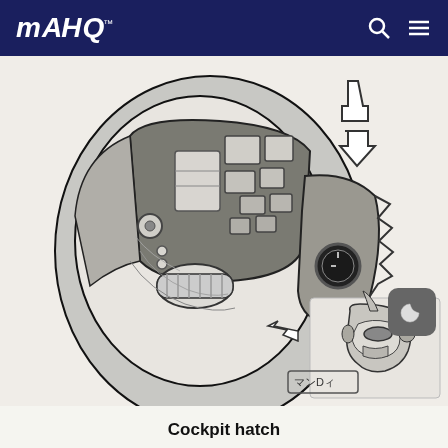MAHQ
[Figure (illustration): Technical line art cutaway illustration of a mecha/robot cockpit hatch, showing interior mechanical components including cockpit cavity, mechanical joints, circular porthole, and serrated armor edges. Arrows indicate opening direction. Below is a smaller inset view of the full mech head. Japanese artist signature マンDィ visible at bottom left.]
Cockpit hatch